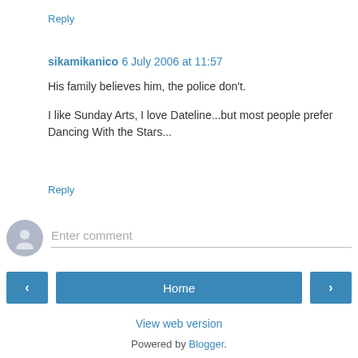Reply
sikamikanico 6 July 2006 at 11:57
His family believes him, the police don't.

I like Sunday Arts, I love Dateline...but most people prefer Dancing With the Stars...
Reply
Enter comment
Home
View web version
Powered by Blogger.